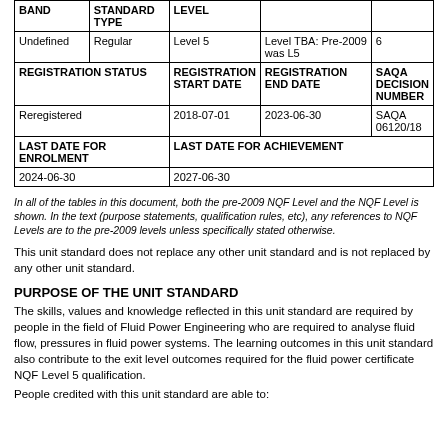| BAND | STANDARD TYPE | LEVEL |  |  |
| --- | --- | --- | --- | --- |
| Undefined | Regular | Level 5 | Level TBA: Pre-2009 was L5 | 6 |
| REGISTRATION STATUS |  | REGISTRATION START DATE | REGISTRATION END DATE | SAQA DECISION NUMBER |
| Reregistered |  | 2018-07-01 | 2023-06-30 | SAQA 06120/18 |
| LAST DATE FOR ENROLMENT |  | LAST DATE FOR ACHIEVEMENT |  |  |
| 2024-06-30 |  | 2027-06-30 |  |  |
In all of the tables in this document, both the pre-2009 NQF Level and the NQF Level is shown. In the text (purpose statements, qualification rules, etc), any references to NQF Levels are to the pre-2009 levels unless specifically stated otherwise.
This unit standard does not replace any other unit standard and is not replaced by any other unit standard.
PURPOSE OF THE UNIT STANDARD
The skills, values and knowledge reflected in this unit standard are required by people in the field of Fluid Power Engineering who are required to analyse fluid flow, pressures in fluid power systems. The learning outcomes in this unit standard also contribute to the exit level outcomes required for the fluid power certificate NQF Level 5 qualification.
People credited with this unit standard are able to: